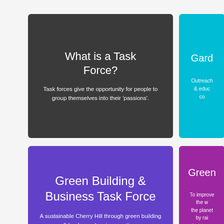[Figure (infographic): Dark grey card titled 'What is a Task Force?' with body text: Task forces give the opportunity for people to group themselves into their 'passions'.]
[Figure (infographic): Cyan/teal card partially visible on right, titled 'Gard...' with body text starting 'Outreach & educ... co...']
[Figure (infographic): Purple card titled 'Green Building & Business Task Force' with body text: A sustainable Cherry Hill through green building & land use planning practices]
[Figure (infographic): Magenta/purple card partially visible on right, titled 'Green...' with body text starting 'To improve the w... the planet by rai... between perso...']